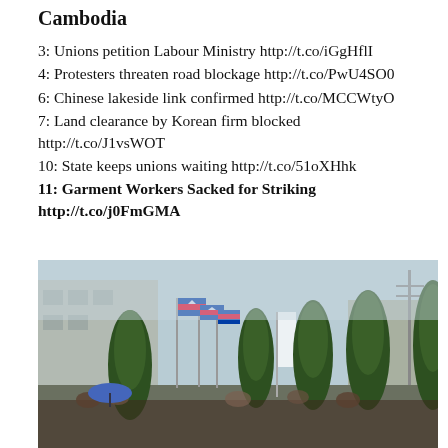Cambodia
3: Unions petition Labour Ministry http://t.co/iGgHflI
4: Protesters threaten road blockage http://t.co/PwU4SO0
6: Chinese lakeside link confirmed http://t.co/MCCWtyO
7: Land clearance by Korean firm blocked http://t.co/J1vsWOT
10: State keeps unions waiting http://t.co/51oXHhk
11: Garment Workers Sacked for Striking http://t.co/j0FmGMA
[Figure (photo): Outdoor scene in Cambodia showing people gathered near trees with Cambodian flags, a white banner, and buildings in the background under an overcast sky.]